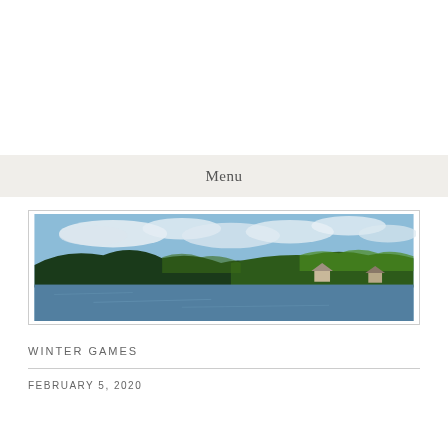Menu
[Figure (photo): Panoramic photograph of a lake surrounded by forested hills under a partly cloudy sky, with a house visible among trees on the far shore.]
WINTER GAMES
FEBRUARY 5, 2020